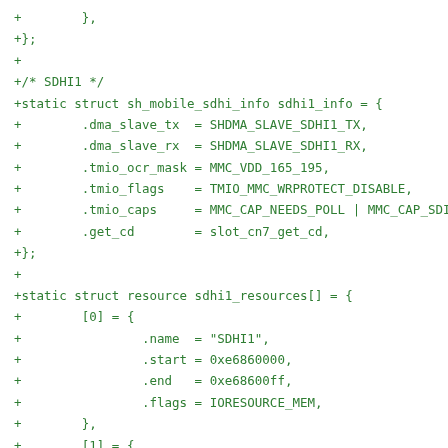+        },
+};
+
+/* SDHI1 */
+static struct sh_mobile_sdhi_info sdhi1_info = {
+        .dma_slave_tx  = SHDMA_SLAVE_SDHI1_TX,
+        .dma_slave_rx  = SHDMA_SLAVE_SDHI1_RX,
+        .tmio_ocr_mask = MMC_VDD_165_195,
+        .tmio_flags    = TMIO_MMC_WRPROTECT_DISABLE,
+        .tmio_caps     = MMC_CAP_NEEDS_POLL | MMC_CAP_SDIO_I
+        .get_cd        = slot_cn7_get_cd,
+};
+
+static struct resource sdhi1_resources[] = {
+        [0] = {
+                .name  = "SDHI1",
+                .start = 0xe6860000,
+                .end   = 0xe68600ff,
+                .flags = IORESOURCE_MEM,
+        },
+        [1] = {
+                .start = evt2irq(0x0e80), /* SDHI1_SDHI1I0 *
+                .flags = IORESOURCE_IRQ,
+
+        },
+        [2] = {